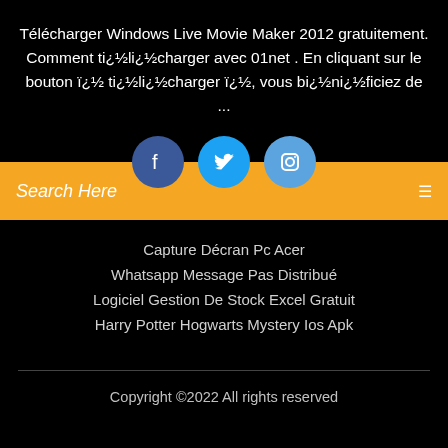Télécharger Windows Live Movie Maker 2012 gratuitement. Comment ti¿½li¿½charger avec 01net . En cliquant sur le bouton ï¿½ ti¿½li¿½charger ï¿½, vous bi¿½ni¿½ficiez de ...
[Figure (other): Three social media circular icon buttons: Facebook (dark blue), Twitter (blue), Instagram (light blue)]
Search Here
Capture Décran Pc Acer
Whatsapp Message Pas Distribué
Logiciel Gestion De Stock Excel Gratuit
Harry Potter Hogwarts Mystery Ios Apk
Copyright ©2022 All rights reserved